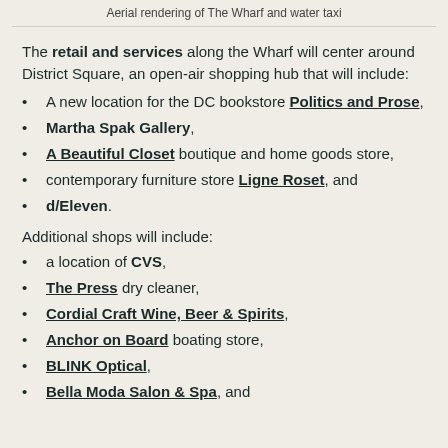Aerial rendering of The Wharf and water taxi
The retail and services along the Wharf will center around District Square, an open-air shopping hub that will include:
A new location for the DC bookstore Politics and Prose,
Martha Spak Gallery,
A Beautiful Closet boutique and home goods store,
contemporary furniture store Ligne Roset, and
d/Eleven.
Additional shops will include:
a location of CVS,
The Press dry cleaner,
Cordial Craft Wine, Beer & Spirits,
Anchor on Board boating store,
BLINK Optical,
Bella Moda Salon & Spa, and